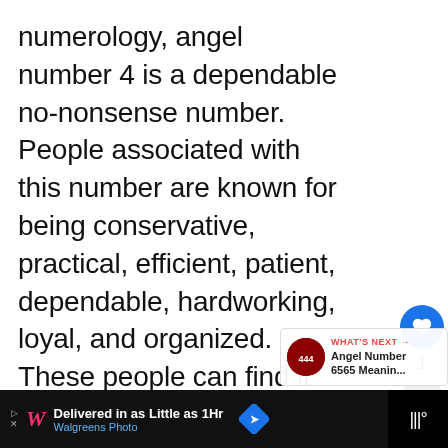numerology, angel number 4 is a dependable no-nonsense number. People associated with this number are known for being conservative, practical, efficient, patient, dependable, hardworking, loyal, and organized. These people can find it very hard to understand another person's perspective because they start to believe their own opinions as facts.
[Figure (screenshot): UI overlay with heart/like button (blue circle), count of 1, share button, and a 'What's Next' card showing Angel Number 6565 Meanin...]
[Figure (screenshot): Advertisement bar at the bottom: Walgreens Photo ad - 'Delivered in as Little as 1Hr' with Walgreens script logo, blue arrow icon, and black section on right]